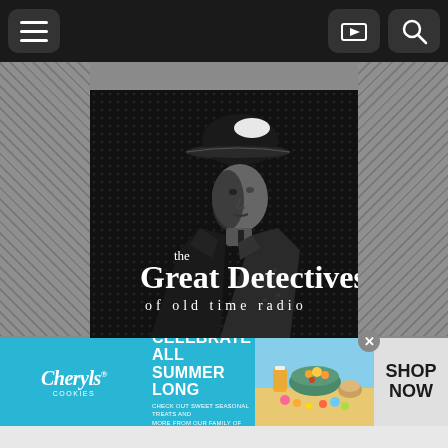Navigation bar with menu, image gallery, and search icons
[Figure (illustration): Podcast cover art for 'The Great Detectives of Old Time Radio' — black and white noir-style image of a man in a fedora hat and dark coat, with white serif text reading 'the Great Detectives of old time radio' overlaid at the bottom]
[Figure (photo): Cheryl's Cookies advertisement banner with cyan blue background, brand logo on left, text 'CELEBRATE ALL SUMMER LONG - CHECK OUT SWEET SEASONAL TREATS AND MORE FROM OUR FAMILY OF BRANDS.' in center, colorful food/snack photo on right, and 'SHOP NOW' button on far right. Close (x) button in top right corner.]